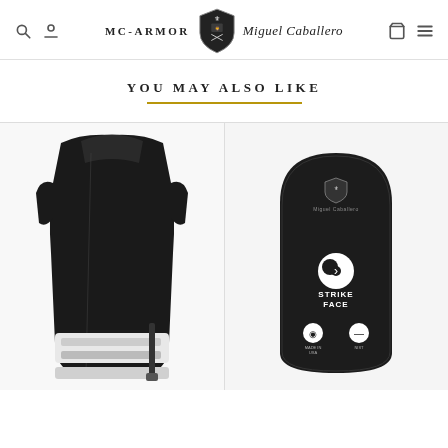[Figure (logo): MC-Armor Miguel Caballero brand header with search, user, cart, and menu icons]
YOU MAY ALSO LIKE
[Figure (photo): Black bulletproof vest/body armor shown from the side, with white strap/velcro visible at the bottom]
[Figure (photo): Black ballistic plate/panel with rounded top, showing Miguel Caballero logo and STRIKE FACE label with additional certification icons at the bottom]